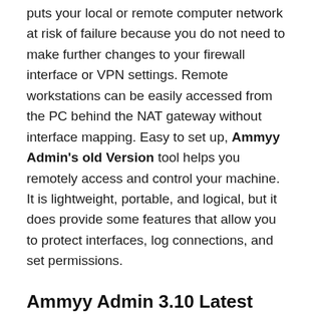puts your local or remote computer network at risk of failure because you do not need to make further changes to your firewall interface or VPN settings. Remote workstations can be easily accessed from the PC behind the NAT gateway without interface mapping. Easy to set up, Ammyy Admin's old Version tool helps you remotely access and control your machine. It is lightweight, portable, and logical, but it does provide some features that allow you to protect interfaces, log connections, and set permissions.
Ammyy Admin 3.10 Latest Version:
Ammyy Admin's Latest Version has a very intuitive program. It is easy to use and can be used by professional and novice computer users. To act, configure